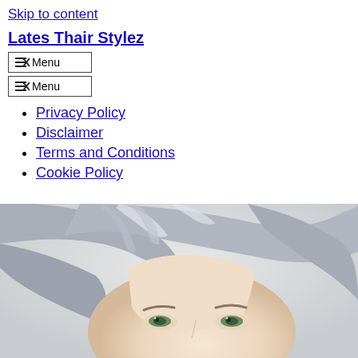Skip to content
Lates Thair Stylez
Menu (button 1)
Menu (button 2)
Privacy Policy
Disclaimer
Terms and Conditions
Cookie Policy
[Figure (photo): Close-up of a woman with long silver/gray hair, light skin, and green eyes looking at the camera against a light background]